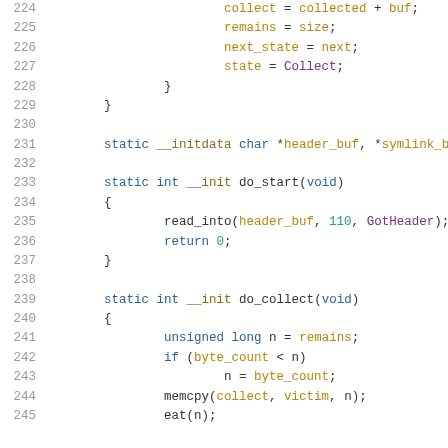Source code listing, lines 224-245
224: collect = collected + buf;
225: remains = size;
226: next_state = next;
227: state = Collect;
228: }
229: }
230:
231: static __initdata char *header_buf, *symlink_bu
232:
233: static int __init do_start(void)
234: {
235: read_into(header_buf, 110, GotHeader);
236: return 0;
237: }
238:
239: static int __init do_collect(void)
240: {
241: unsigned long n = remains;
242: if (byte_count < n)
243: n = byte_count;
244: memcpy(collect, victim, n);
245: eat(n);